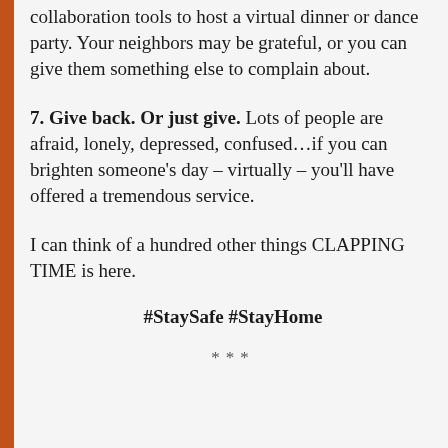collaboration tools to host a virtual dinner or dance party. Your neighbors may be grateful, or you can give them something else to complain about.
7. Give back. Or just give. Lots of people are afraid, lonely, depressed, confused…if you can brighten someone's day – virtually – you'll have offered a tremendous service.
I can think of a hundred other things CLAPPING TIME is here.
#StaySafe #StayHome
***